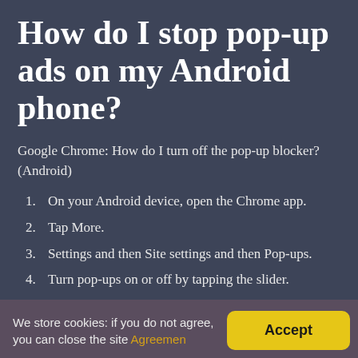How do I stop pop-up ads on my Android phone?
Google Chrome: How do I turn off the pop-up blocker? (Android)
On your Android device, open the Chrome app.
Tap More.
Settings and then Site settings and then Pop-ups.
Turn pop-ups on or off by tapping the slider.
Why do ads keep
We store cookies: if you do not agree, you can close the site Agreemen